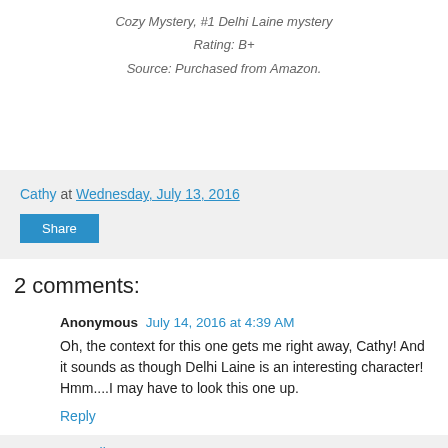Cozy Mystery, #1 Delhi Laine mystery
Rating: B+
Source: Purchased from Amazon.
Cathy at Wednesday, July 13, 2016
Share
2 comments:
Anonymous July 14, 2016 at 4:39 AM
Oh, the context for this one gets me right away, Cathy! And it sounds as though Delhi Laine is an interesting character! Hmm....I may have to look this one up.
Reply
▾ Replies